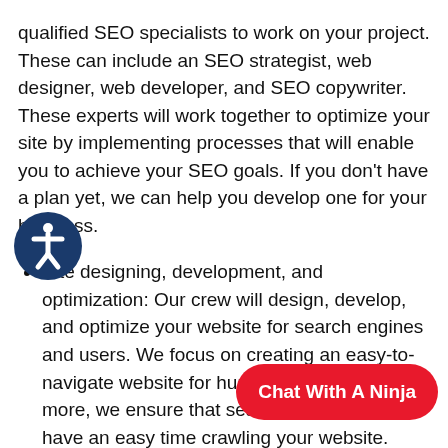qualified SEO specialists to work on your project. These can include an SEO strategist, web designer, web developer, and SEO copywriter. These experts will work together to optimize your site by implementing processes that will enable you to achieve your SEO goals. If you don't have a plan yet, we can help you develop one for your business.
Site designing, development, and optimization: Our crew will design, develop, and optimize your website for search engines and users. We focus on creating an easy-to-navigate website for human users. What's more, we ensure that search engine spiders have an easy time crawling your website. Additionally, we use effective SEO tactics to boost the visibility of every website page.
We handle both on-page and off-page SEO. That means we create content with the right keywords and meeting the highest quality standards. What's more, we make sure your site is easy to access and navigate. And this is crucial for
[Figure (illustration): Accessibility icon: a dark blue circle with a white person figure inside, representing accessibility settings]